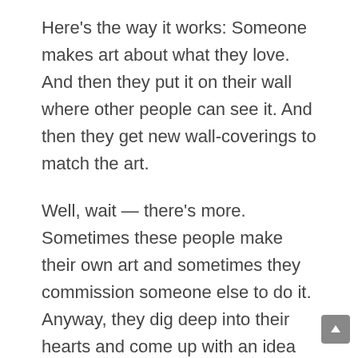Here's the way it works: Someone makes art about what they love. And then they put it on their wall where other people can see it. And then they get new wall-coverings to match the art.
Well, wait — there's more. Sometimes these people make their own art and sometimes they commission someone else to do it. Anyway, they dig deep into their hearts and come up with an idea that they really love and they put it into a picture that they really like and then they find a way to get it into your living room without giving you a heart attack when you open the box. It's pretty amazing, actually.
But here's the thing: not all art works in every home